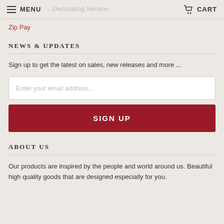MENU  [faded text: ...Decorating Service...]  CART
Zip Pay
NEWS & UPDATES
Sign up to get the latest on sales, new releases and more ...
Enter your email address...
SIGN UP
ABOUT US
Our products are inspired by the people and world around us. Beautiful high quality goods that are designed especially for you.